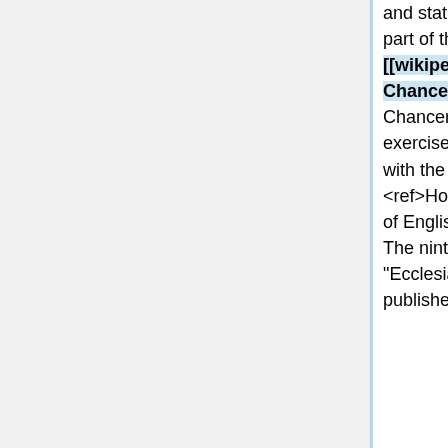and statute law, and of that part of the jurisdiction of the [[wikipedia:Court of Chancery|Court of Chancery]] which was exercised by it concurrently with the ecclesiastical courts." <ref>Holdsworth, "A History of English Law", 612.</ref> The ninth and final edition of "Ecclesiastical Law" was published in 1842.